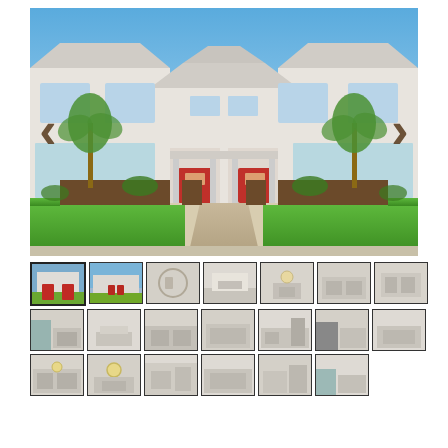[Figure (photo): Main exterior photo of a modern white two-story duplex townhouse with red doors, palm trees, green lawn, blue sky, and navigation arrows (< and >) overlaid on left and right sides]
[Figure (photo): Grid of 21 thumbnail photos showing various interior and exterior views of the property]
[Figure (photo): Thumbnail 1: exterior front view]
[Figure (photo): Thumbnail 2: exterior front view 2]
[Figure (photo): Thumbnail 3: interior kitchen/bath]
[Figure (photo): Thumbnail 4: interior open plan]
[Figure (photo): Thumbnail 5: dining area]
[Figure (photo): Thumbnail 6: living/dining]
[Figure (photo): Thumbnail 7: interior room]
[Figure (photo): Thumbnail 8: kitchen]
[Figure (photo): Thumbnail 9: kitchen island]
[Figure (photo): Thumbnail 10: kitchen angle]
[Figure (photo): Thumbnail 11: kitchen appliances]
[Figure (photo): Thumbnail 12: kitchen/dining]
[Figure (photo): Thumbnail 13: kitchen large]
[Figure (photo): Thumbnail 14: bedroom/bathroom]
[Figure (photo): Thumbnail 15: dining room chandelier]
[Figure (photo): Thumbnail 16: open living area]
[Figure (photo): Thumbnail 17: living room wide]
[Figure (photo): Thumbnail 18: kitchen/living]
[Figure (photo): Thumbnail 19: bathroom/laundry]